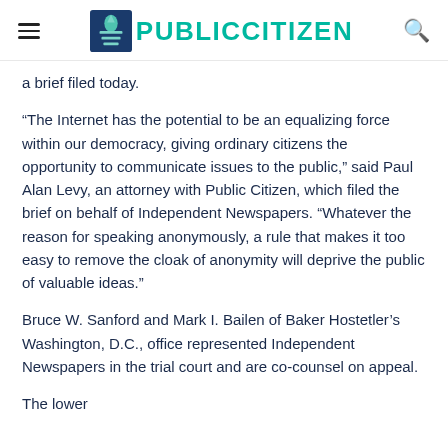PUBLIC CITIZEN
a brief filed today.
“The Internet has the potential to be an equalizing force within our democracy, giving ordinary citizens the opportunity to communicate issues to the public,” said Paul Alan Levy, an attorney with Public Citizen, which filed the brief on behalf of Independent Newspapers. “Whatever the reason for speaking anonymously, a rule that makes it too easy to remove the cloak of anonymity will deprive the public of valuable ideas.”
Bruce W. Sanford and Mark I. Bailen of Baker Hostetler’s Washington, D.C., office represented Independent Newspapers in the trial court and are co-counsel on appeal.
The lower...